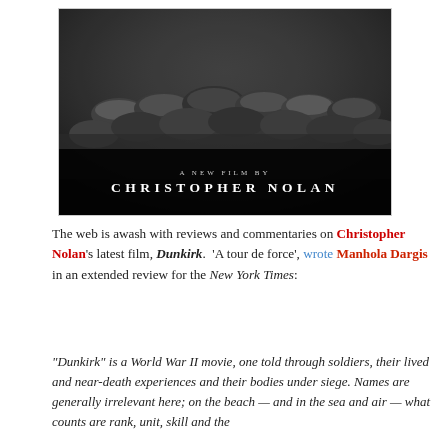[Figure (photo): Movie poster for Dunkirk showing soldiers on a beach with helmets in dark, grainy monochrome. Text reads 'A NEW FILM BY CHRISTOPHER NOLAN'.]
The web is awash with reviews and commentaries on Christopher Nolan's latest film, Dunkirk. 'A tour de force', wrote Manhola Dargis in an extended review for the New York Times:
“Dunkirk” is a World War II movie, one told through soldiers, their lived and near-death experiences and their bodies under siege. Names are generally irrelevant here; on the beach — and in the sea and air — what counts are rank, unit, skill and the